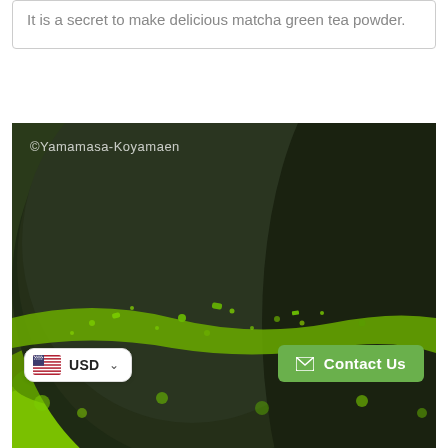It is a secret to make delicious matcha green tea powder.
[Figure (photo): Close-up photograph of a dark ceramic bowl (chawan) surrounded by bright green matcha powder. A watermark reads '©Yamamasa-Koyamaen' in the upper left. The image shows the vivid green matcha powder scattered on and around the rough-textured dark bowl.]